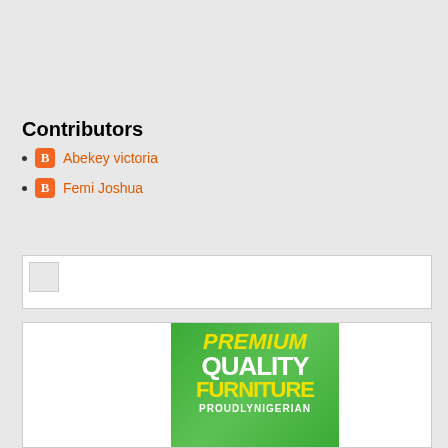Contributors
Abekey victoria
Femi Joshua
[Figure (other): Banner ad placeholder with broken image icon]
[Figure (other): Premium Quality Furniture Proudly Nigerian advertisement on green background]